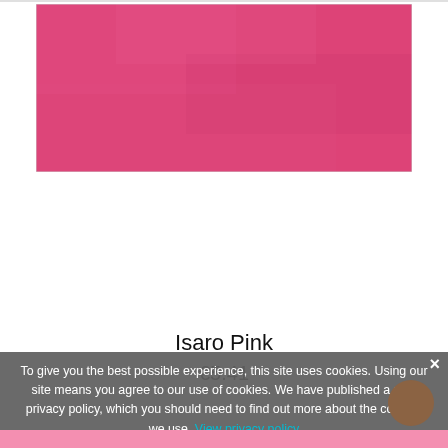[Figure (photo): Close-up photograph of Isaro Pink watercolor paint swatch — a vibrant pink/magenta textured surface filling the upper portion of the page]
Isaro Pink
€5.41
To give you the best possible experience, this site uses cookies. Using our site means you agree to our use of cookies. We have published a new privacy policy, which you should need to find out more about the cookies we use. View privacy policy  Accept